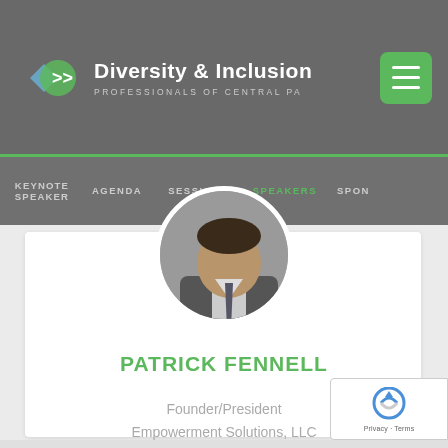Diversity & Inclusion PROFESSIONALS OF CENTRAL PA
KEYNOTE SPEAKER  AGENDA  SESSIONS  SPEAKERS  SPON
[Figure (photo): Circular profile photo of Patrick Fennell, a man in a suit]
PATRICK FENNELL
Founder/President
Empowerment Solutions, LLC
[Figure (logo): reCAPTCHA badge with Privacy and Terms links]